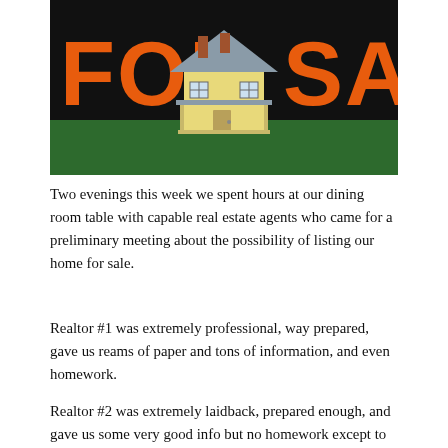[Figure (photo): A miniature model house in yellow with a grey roof placed in front of a large 'FOR SALE' sign with orange letters on a black background, set on green grass backdrop.]
Two evenings this week we spent hours at our dining room table with capable real estate agents who came for a preliminary meeting about the possibility of listing our home for sale.
Realtor #1 was extremely professional, way prepared, gave us reams of paper and tons of information, and even homework.
Realtor #2 was extremely laidback, prepared enough, and gave us some very good info but no homework except to consider replacing the furnace. (more expensive homework